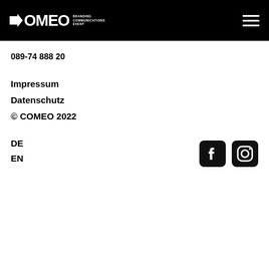COMEO BRANDING COMMUNICATIONS EVENT — navigation menu
089-74 888 20
Impressum
Datenschutz
© COMEO 2022
DE
EN
[Figure (logo): Facebook and Instagram social media icons]